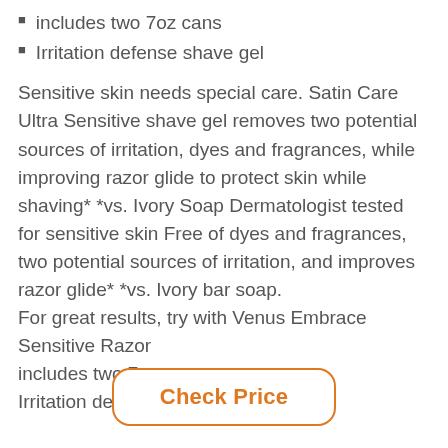includes two 7oz cans
Irritation defense shave gel
Sensitive skin needs special care. Satin Care Ultra Sensitive shave gel removes two potential sources of irritation, dyes and fragrances, while improving razor glide to protect skin while shaving* *vs. Ivory Soap Dermatologist tested for sensitive skin Free of dyes and fragrances, two potential sources of irritation, and improves razor glide* *vs. Ivory bar soap.
For great results, try with Venus Embrace Sensitive Razor
includes two 7oz cans
Irritation defense shave gel
Check Price